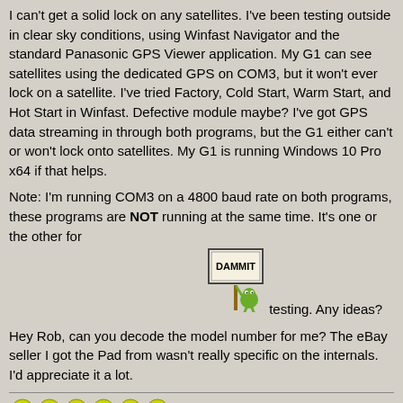I can't get a solid lock on any satellites. I've been testing outside in clear sky conditions, using Winfast Navigator and the standard Panasonic GPS Viewer application. My G1 can see satellites using the dedicated GPS on COM3, but it won't ever lock on a satellite. I've tried Factory, Cold Start, Warm Start, and Hot Start in Winfast. Defective module maybe? I've got GPS data streaming in through both programs, but the G1 either can't or won't lock onto satellites. My G1 is running Windows 10 Pro x64 if that helps.
Note: I'm running COM3 on a 4800 baud rate on both programs, these programs are NOT running at the same time. It's one or the other for testing. Any ideas?
[Figure (illustration): Pixel art character holding a sign that reads DAMMIT]
Hey Rob, can you decode the model number for me? The eBay seller I got the Pad from wasn't really specific on the internals. I'd appreciate it a lot.
[Figure (illustration): Row of six yellow smiley face emoji icons]
FZ-G1ASK4CCM-W10 Pro 64bit, 256GBSSD, 8GB RAM, GPS, Sierra Wireless MC7700. New addition to my collection, using it for navigation and vehicle diagnostics.
CF-29NTQGZBM-PM 1.6, 1.5GB, 80GB IDE, WXP Pro-Running legacy stuff, rescued from a local pawn shop.